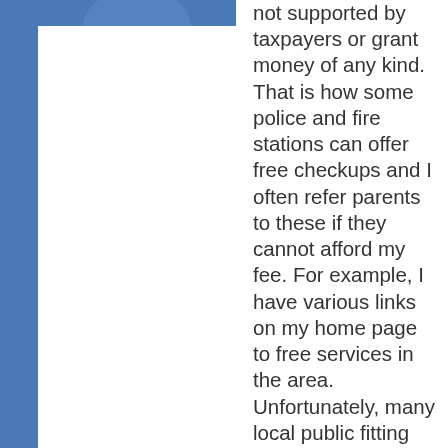[Figure (photo): Partial image visible at top left, appears to be a logo or person photo with blue background]
not supported by taxpayers or grant money of any kind. That is how some police and fire stations can offer free checkups and I often refer parents to these if they cannot afford my fee. For example, I have various links on my home page to free services in the area. Unfortunately, many local public fitting stations have closed due to budget cuts because they did not charge a fee. If I did not charge a fee, I also would not be able to stay in business. Physicians, baby proofers, lactation consultants, CPR educators and many other child service professionals can also